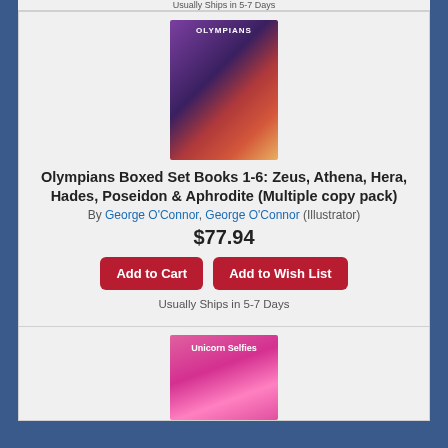Usually Ships in 5-7 Days
[Figure (photo): Book cover image for Olympians Boxed Set Books 1-6]
Olympians Boxed Set Books 1-6: Zeus, Athena, Hera, Hades, Poseidon & Aphrodite (Multiple copy pack)
By George O'Connor, George O'Connor (Illustrator)
$77.94
Add to Cart
Add to Wish List
Usually Ships in 5-7 Days
[Figure (photo): Book cover image for Unicorn Selfies - pink cover with unicorn illustration]